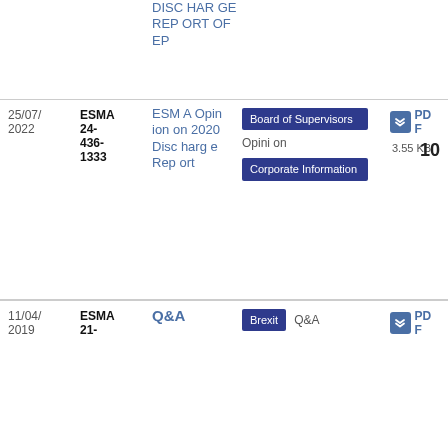| Date | Reference | Title | Tags | Type | Download |
| --- | --- | --- | --- | --- | --- |
|  |  | DISCHARGE REPORT OF EP |  |  |  |
| 25/07/2022 | ESMA 24-436-1333 | ESMA Opinion on 2020 Discharge Report | Board of Supervisors, Corporate Information | Opinion | PDF 3.55 KB 10 |
| 11/04/2019 | ESMA 21-... | Q&A | Brexit | Q&A | PDF |